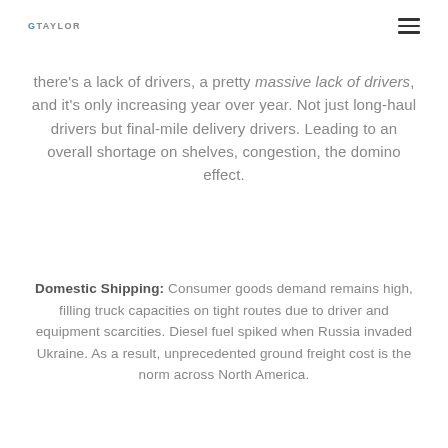GTAYLOR
there's a lack of drivers, a pretty massive lack of drivers, and it's only increasing year over year. Not just long-haul drivers but final-mile delivery drivers. Leading to an overall shortage on shelves, congestion, the domino effect.
Domestic Shipping: Consumer goods demand remains high, filling truck capacities on tight routes due to driver and equipment scarcities. Diesel fuel spiked when Russia invaded Ukraine. As a result, unprecedented ground freight cost is the norm across North America.